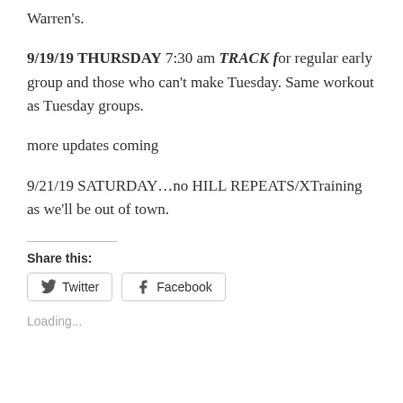Warren's.
9/19/19 THURSDAY 7:30 am TRACK for regular early group and those who can't make Tuesday. Same workout as Tuesday groups.
more updates coming
9/21/19 SATURDAY…no HILL REPEATS/XTraining as we'll be out of town.
Share this:
Twitter
Facebook
Loading...